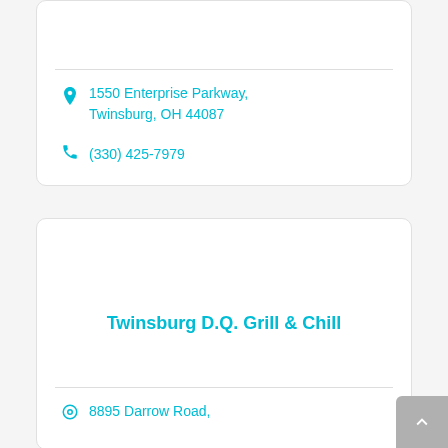1550 Enterprise Parkway, Twinsburg, OH 44087
(330) 425-7979
Twinsburg D.Q. Grill & Chill
8895 Darrow Road,